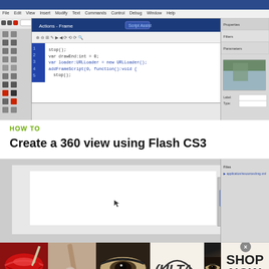[Figure (screenshot): Screenshot of Adobe Flash CS3 Professional IDE showing ActionScript code editor panel with code lines visible, toolbox on the left, and properties panel on the right with a landscape image thumbnail.]
HOW TO
Create a 360 view using Flash CS3
[Figure (screenshot): Screenshot of Adobe Flash CS3 stage area showing a blank white canvas in the center, with a scrollbar on the right side and a properties/files panel on the far right.]
[Figure (advertisement): ULTA Beauty advertisement banner showing close-up images of lips with red lipstick, a makeup brush, an eye with dramatic makeup, the ULTA Beauty logo, another eye with dramatic makeup, and a SHOP NOW call to action.]